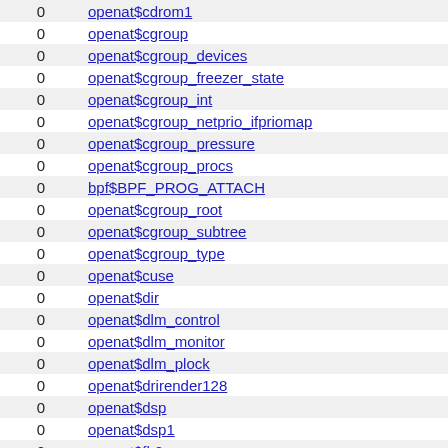|  |  |
| --- | --- |
| 0 | openat$cdrom1 |
| 0 | openat$cgroup |
| 0 | openat$cgroup_devices |
| 0 | openat$cgroup_freezer_state |
| 0 | openat$cgroup_int |
| 0 | openat$cgroup_netprio_ifpriomap |
| 0 | openat$cgroup_pressure |
| 0 | openat$cgroup_procs |
| 0 | bpf$BPF_PROG_ATTACH |
| 0 | openat$cgroup_root |
| 0 | openat$cgroup_subtree |
| 0 | openat$cgroup_type |
| 0 | openat$cuse |
| 0 | openat$dir |
| 0 | openat$dlm_control |
| 0 | openat$dlm_monitor |
| 0 | openat$dlm_plock |
| 0 | openat$drirender128 |
| 0 | openat$dsp |
| 0 | openat$dsp1 |
| 0 | openat$fb0 |